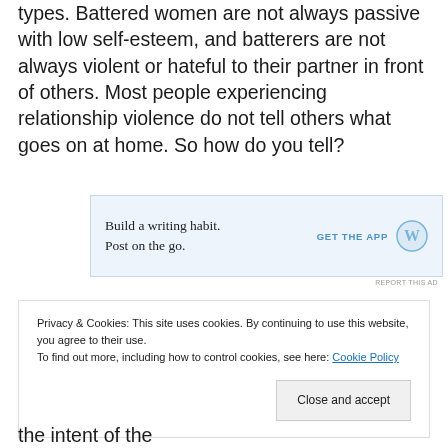types. Battered women are not always passive with low self-esteem, and batterers are not always violent or hateful to their partner in front of others. Most people experiencing relationship violence do not tell others what goes on at home. So how do you tell?
[Figure (other): Advertisement banner: 'Build a writing habit. Post on the go.' with a GET THE APP button and WordPress logo]
REPORT THIS AD
Privacy & Cookies: This site uses cookies. By continuing to use this website, you agree to their use. To find out more, including how to control cookies, see here: Cookie Policy
Close and accept
the intent of the